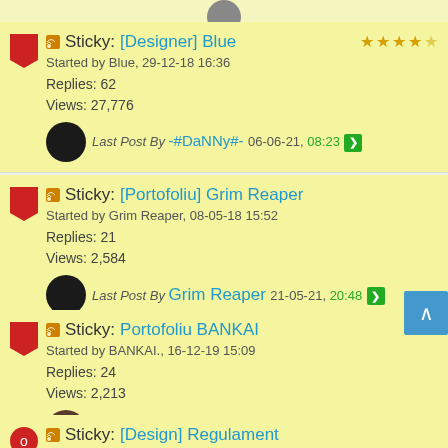Sticky: [Designer] Blue — Started by Blue, 29-12-18 16:36 — Replies: 62 — Views: 27,776 — Last Post By -#DaNNy#- 06-06-21, 08:23
Sticky: [Portofoliu] Grim Reaper — Started by Grim Reaper, 08-05-18 15:52 — Replies: 21 — Views: 2,584 — Last Post By Grim Reaper 21-05-21, 20:48
Sticky: Portofoliu BANKAI — Started by BANKAI., 16-12-19 15:09 — Replies: 24 — Views: 2,213 — Last Post By KeK 20-02-21, 21:59
Sticky: [Design] Regulament